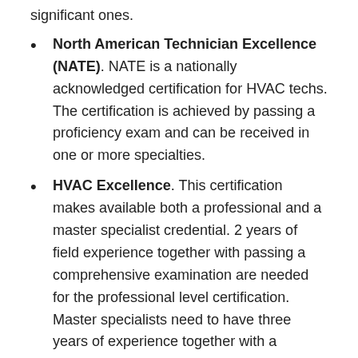significant ones.
North American Technician Excellence (NATE). NATE is a nationally acknowledged certification for HVAC techs. The certification is achieved by passing a proficiency exam and can be received in one or more specialties.
HVAC Excellence. This certification makes available both a professional and a master specialist credential. 2 years of field experience together with passing a comprehensive examination are needed for the professional level certification. Master specialists need to have three years of experience together with a passing score on the professional level examination. As with NATE, certifications are provided in multiple specialties.
EPA Section 608. This certification is mandatory for specialists that work with refrigerants. There are three forms of certification available, one for small